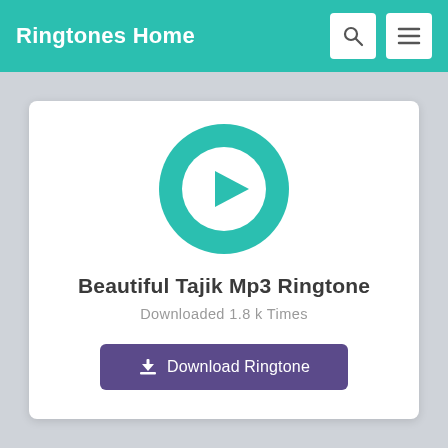Ringtones Home
[Figure (screenshot): Ringtone player card with teal play button circle, title 'Beautiful Tajik Mp3 Ringtone', download count, and purple download button]
Beautiful Tajik Mp3 Ringtone
Downloaded 1.8 k Times
Download Ringtone